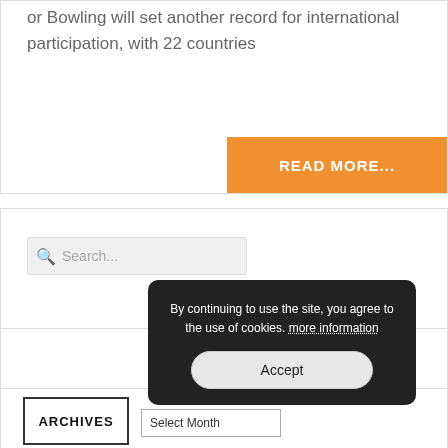or Bowling will set another record for international participation, with 22 countries
READ MORE...
[Figure (screenshot): Search input box with magnifying glass icon and placeholder text 'Search...']
ARCHIVES
Select Month
By continuing to use the site, you agree to the use of cookies. more information
Accept